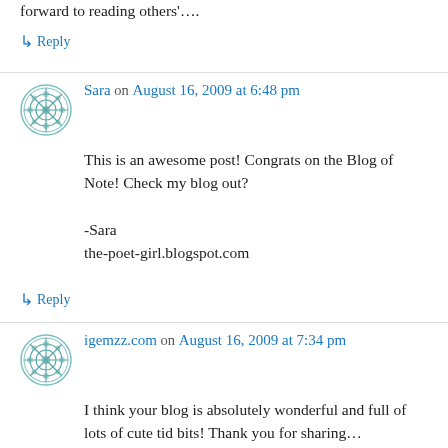forward to reading others'….
↳ Reply
Sara on August 16, 2009 at 6:48 pm
This is an awesome post! Congrats on the Blog of Note! Check my blog out?

-Sara
the-poet-girl.blogspot.com
↳ Reply
igemzz.com on August 16, 2009 at 7:34 pm
I think your blog is absolutely wonderful and full of lots of cute tid bits! Thank you for sharing…